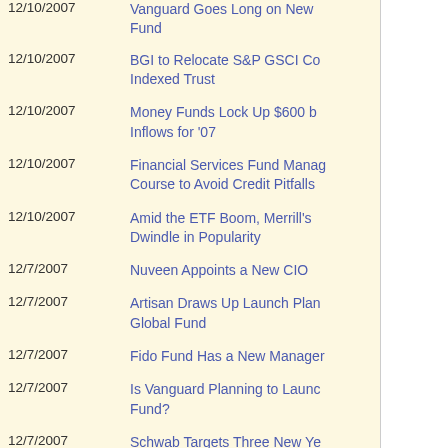| Date | Title |
| --- | --- |
| 12/10/2007 | Vanguard Goes Long on New Fund |
| 12/10/2007 | BGI to Relocate S&P GSCI Commodity Indexed Trust |
| 12/10/2007 | Money Funds Lock Up $600 b Inflows for '07 |
| 12/10/2007 | Financial Services Fund Managers Course to Avoid Credit Pitfalls |
| 12/10/2007 | Amid the ETF Boom, Merrill's Dwindle in Popularity |
| 12/7/2007 | Nuveen Appoints a New CIO |
| 12/7/2007 | Artisan Draws Up Launch Plans for Global Fund |
| 12/7/2007 | Fido Fund Has a New Manager |
| 12/7/2007 | Is Vanguard Planning to Launch a Fund? |
| 12/7/2007 | Schwab Targets Three New Year Lifecycle Funds |
| 12/7/2007 | Mutual Fund Usage by Advisors |